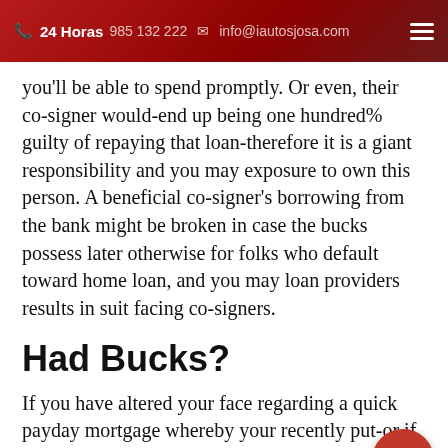24 Horas 985 132 222  info@iautosjosa.com
you'll be able to spend promptly. Or even, their co-signer would-end up being one hundred% guilty of repaying that loan-therefore it is a giant responsibility and you may exposure to own this person. A beneficial co-signer's borrowing from the bank might be broken in case the bucks possess later otherwise for folks who default toward home loan, and you may loan providers results in suit facing co-signers.
Had Bucks?
If you have altered your face regarding a quick payday mortgage whereby your recently put-or if you came into some money